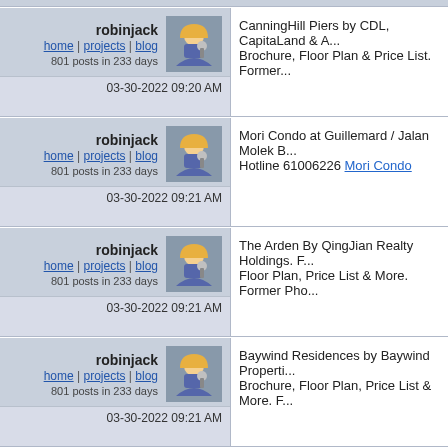robinjack
home | projects | blog
801 posts in 233 days
03-30-2022 09:20 AM
CanningHill Piers by CDL, CapitaLand & A... Brochure, Floor Plan & Price List. Former...
robinjack
home | projects | blog
801 posts in 233 days
03-30-2022 09:21 AM
Mori Condo at Guillemard / Jalan Molek B... Hotline 61006226 Mori Condo
robinjack
home | projects | blog
801 posts in 233 days
03-30-2022 09:21 AM
The Arden By QingJian Realty Holdings. F... Floor Plan, Price List & More. Former Pho...
robinjack
home | projects | blog
801 posts in 233 days
03-30-2022 09:21 AM
Baywind Residences by Baywind Properti... Brochure, Floor Plan, Price List & More. F...
robinjack
Former Watton Estate Condominium By...